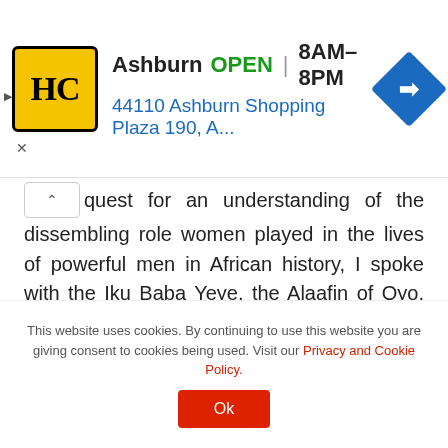[Figure (other): Advertisement banner for HC store in Ashburn. Shows HC logo (yellow square with black HC letters), store name 'Ashburn', status 'OPEN', hours '8AM–8PM', address '44110 Ashburn Shopping Plaza 190, A...', and a blue navigation diamond icon. Close/collapse controls visible on left.]
quest for an understanding of the dissembling role women played in the lives of powerful men in African history, I spoke with the Iku Baba Yeye, the Alaafin of Oyo, Oba Lamidi Adeyemi, yesterday. Alaafin took his time to narrate to me the story of that infamous man in Old Oyo Empire, notorious for unbridled wickedness, Bashorun Gaa. Though I had always cited this story to back up earlier submissions, I couldn't resist retelling the Alaafin's version of it. In it, Gaa was captured through a young lady called Agbonin, though not directly through his libidinous craving.
This website uses cookies. By continuing to use this website you are giving consent to cookies being used. Visit our Privacy and Cookie Policy.
Ok